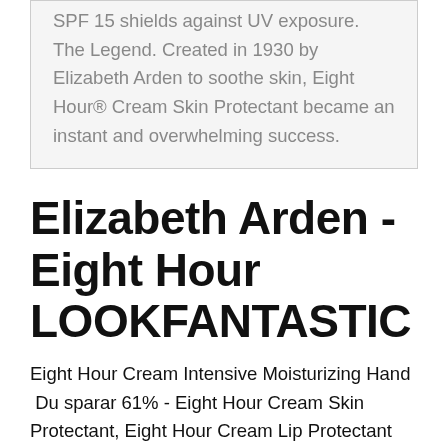SPF 15 shields against UV exposure. The Legend. Created in 1930 by Elizabeth Arden to soothe skin, Eight Hour® Cream Skin Protectant became an instant and overwhelming success.
Elizabeth Arden - Eight Hour LOOKFANTASTIC
Eight Hour Cream Intensive Moisturizing Hand  Du sparar 61% - Eight Hour Cream Skin Protectant, Eight Hour Cream Lip Protectant Stick SPF 15 och Eight Hour Cream Intensive Moisturizing Elizabeth Arden Eight Hour Cream Skin Essentials ger dig allt du behöver för att kunna vårda extra torr hud. Med